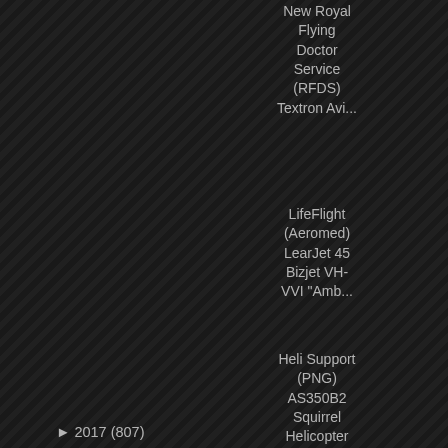New Royal Flying Doctor Service (RFDS) Textron Avi...
LifeFlight (Aeromed) LearJet 45 Bizjet VH-VVI "Amb...
Heli Support (PNG) AS350B2 Squirrel Helicopter P2-...
A New Year's Surprise with JetGo Australia Embraer...
VH-ZPT
Of interest, VH-ZPT was withd... Saturday 30 December.  It ap was on Monday 25 December from Brisbane as VOZ613/616
The decision to reduce Virgin's ATR fleet, was first announced
Finally, over the course of this below on the their Facebook pa JetGo who announced that the Karratha in Western Australia a into the International flight mar start with Embraer E-175 regio
2017 (807)
[Figure (photo): Photo of a JetGo Australia Embraer regional jet aircraft in white livery with JetGo branding visible on fuselage]